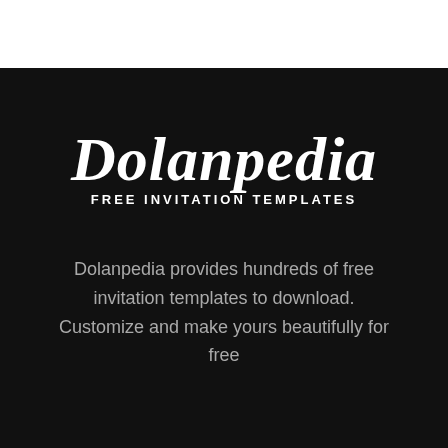[Figure (logo): Dolanpedia logo with script font and subtitle 'FREE INVITATION TEMPLATES' on dark background]
Dolanpedia provides hundreds of free invitation templates to download. Customize and make yours beautifully for free